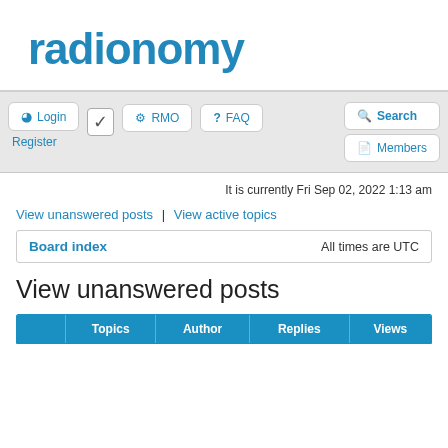[Figure (logo): radionomy logo in blue text]
Login | Register | RMO | FAQ | Search | Members
It is currently Fri Sep 02, 2022 1:13 am
View unanswered posts | View active topics
Board index   All times are UTC
View unanswered posts
|  | Topics | Author | Replies | Views |
| --- | --- | --- | --- | --- |